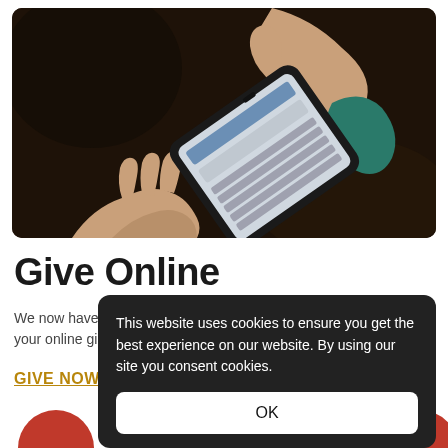[Figure (photo): Hands holding a smartphone and typing on its keyboard, seen from above against a dark background]
Give Online
We now have your online gi...
GIVE NOW
This website uses cookies to ensure you get the best experience on our website. By using our site you consent cookies.
OK